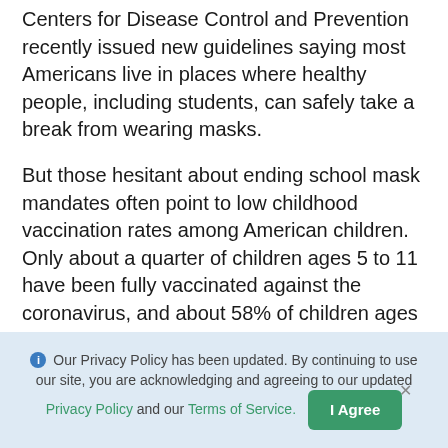Centers for Disease Control and Prevention recently issued new guidelines saying most Americans live in places where healthy people, including students, can safely take a break from wearing masks.
But those hesitant about ending school mask mandates often point to low childhood vaccination rates among American children. Only about a quarter of children ages 5 to 11 have been fully vaccinated against the coronavirus, and about 58% of children ages 12 to 17 are inoculated, the CDC says.
Our Privacy Policy has been updated. By continuing to use our site, you are acknowledging and agreeing to our updated Privacy Policy and our Terms of Service. I Agree